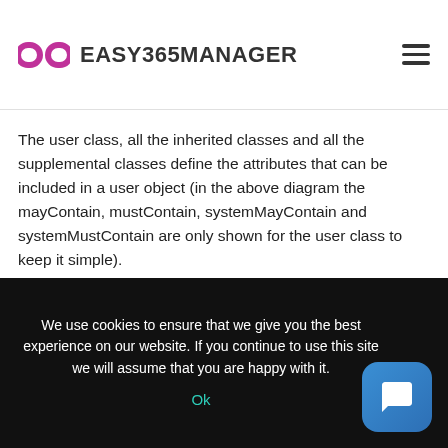EASY365MANAGER
The user class, all the inherited classes and all the supplemental classes define the attributes that can be included in a user object (in the above diagram the mayContain, mustContain, systemMayContain and systemMustContain are only shown for the user class to keep it simple).
Extending AD Management to Include Office 365
We use cookies to ensure that we give you the best experience on our website. If you continue to use this site we will assume that you are happy with it. Ok